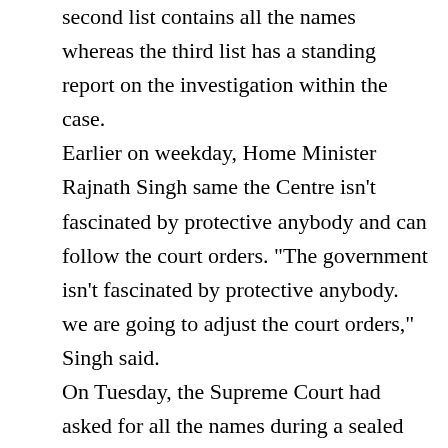second list contains all the names whereas the third list has a standing report on the investigation within the case. Earlier on weekday, Home Minister Rajnath Singh same the Centre isn't fascinated by protective anybody and can follow the court orders. "The government isn't fascinated by protective anybody. we are going to adjust the court orders," Singh said. On Tuesday, the Supreme Court had asked for all the names during a sealed cowl, on a daily basis when the govt. named eight individuals being prosecuted for stashing nontaxable cash in felonious bank accounts in different countries. Sources say there square measure a minimum of 800 Indians holding such accounts in foreign